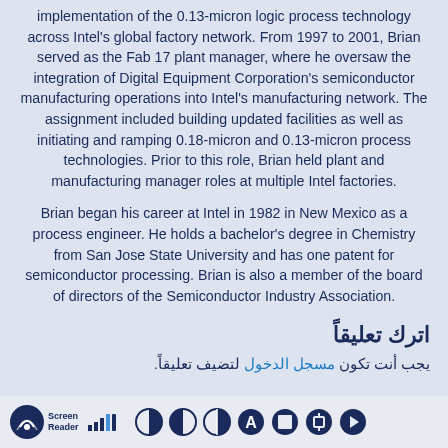implementation of the 0.13-micron logic process technology across Intel's global factory network. From 1997 to 2001, Brian served as the Fab 17 plant manager, where he oversaw the integration of Digital Equipment Corporation's semiconductor manufacturing operations into Intel's manufacturing network. The assignment included building updated facilities as well as initiating and ramping 0.18-micron and 0.13-micron process technologies. Prior to this role, Brian held plant and manufacturing manager roles at multiple Intel factories.
Brian began his career at Intel in 1982 in New Mexico as a process engineer. He holds a bachelor's degree in Chemistry from San Jose State University and has one patent for semiconductor processing. Brian is also a member of the board of directors of the Semiconductor Industry Association.
اترك تعليقاً
يجب أنت تكون مسجل الدخول لتضيف تعليقاً.
[Figure (other): Screen Reader accessibility toolbar with logo, signal bars, and control icons]